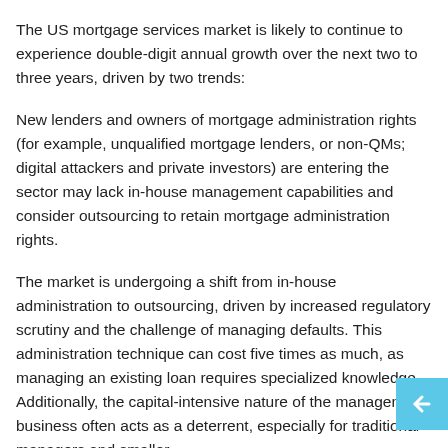The US mortgage services market is likely to continue to experience double-digit annual growth over the next two to three years, driven by two trends:
New lenders and owners of mortgage administration rights (for example, unqualified mortgage lenders, or non-QMs; digital attackers and private investors) are entering the sector may lack in-house management capabilities and consider outsourcing to retain mortgage administration rights.
The market is undergoing a shift from in-house administration to outsourcing, driven by increased regulatory scrutiny and the challenge of managing defaults. This administration technique can cost five times as much, as managing an existing loan requires specialized knowledge. Additionally, the capital-intensive nature of the management business often acts as a deterrent, especially for traditional managers and smaller